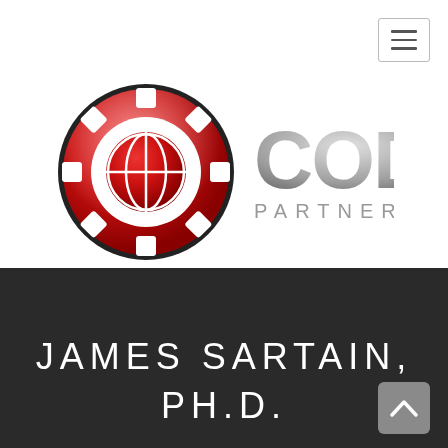[Figure (logo): Hamburger/menu icon button in top right corner, white background with gray border and three horizontal lines]
[Figure (logo): CODA Partners logo: red metallic circle with white gear/globe icon on the left, and 'CODA' in large gray metallic letters with 'PARTNERS' in smaller spaced letters below on the right]
JAMES SARTAIN, PH.D.
[Figure (other): Gray rounded square back-to-top button with upward chevron arrow, bottom right corner]